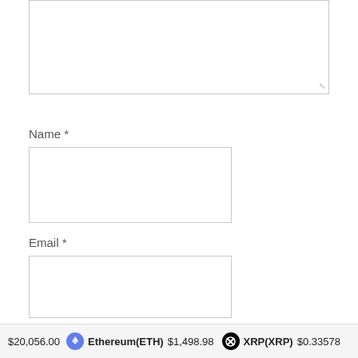[Figure (screenshot): Top portion of a textarea form input, partially visible at top of page]
Name *
[Figure (screenshot): Empty text input box for Name field]
Email *
[Figure (screenshot): Empty text input box for Email field]
Website
[Figure (screenshot): Empty text input box for Website field]
$20,056.00   Ethereum(ETH) $1,498.98   XRP(XRP) $0.33578